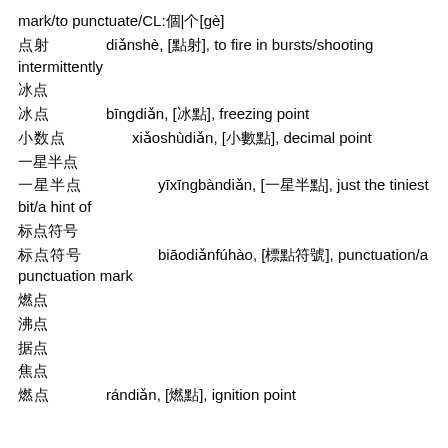mark/to punctuate/CL:個|个[gè]
点射　　diǎnshè, [點射], to fire in bursts/shooting intermittently
冰点
冰点　　bīngdiǎn, [冰點], freezing point
小数点　　xiǎoshùdiǎn, [小數點], decimal point
一星半点
一星半点　　yīxīngbàndiǎn, [一星半點], just the tiniest bit/a hint of
标点符号
标点符号　　biāodiǎnfúhào, [標點符號], punctuation/a punctuation mark
燃点
沸点
据点
焦点
燃点　　rándiǎn, [燃點], ignition point